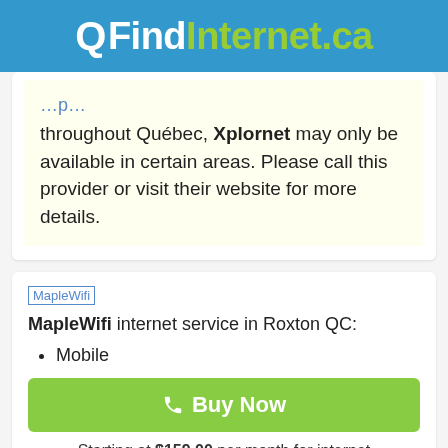QFindInternet.ca
throughout Québec, Xplornet may only be available in certain areas. Please call this provider or visit their website for more details.
[Figure (logo): MapleWifi logo placeholder image]
MapleWifi internet service in Roxton QC:
Mobile
Buy Now
Starting at $159.00 per month for internet